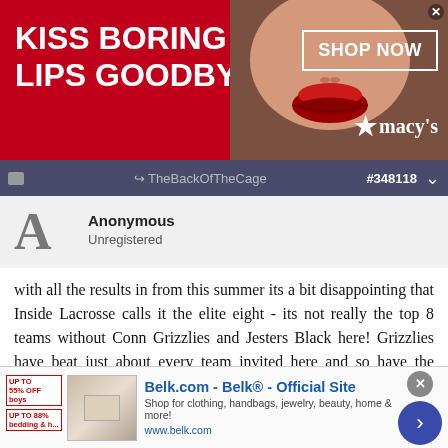[Figure (infographic): Macy's advertisement banner: 'KISS BORING LIPS GOODBYE' with woman's face showing red lips, 'SHOP NOW' box and Macy's star logo on red background]
TheBackOfTheCage  #348118
Anonymous
Unregistered
with all the results in from this summer its a bit disappointing that Inside Lacrosse calls it the elite eight - its not really the top 8 teams without Conn Grizzlies and Jesters Black here! Grizzlies have beat just about every team invited here and so have the Jesters.... makes no sense! It would mean so much more to the players and everyone else if it was really the best 8 teams. Top Gun got manhandled by Grizzlies both times they played this summer and they lost to Jesters. Monster and Skywalker lost to Grizzlies and lost to Jesters this summer. Heroes also lost to both Grizzlies and Jesters this summer. YJ lost to Grizzlies and lost to Jesters and then we beat
[Figure (infographic): Belk.com advertisement: 'Belk® - Official Site' with thumbnail image of bedding, shop link www.belk.com, blue arrow button]